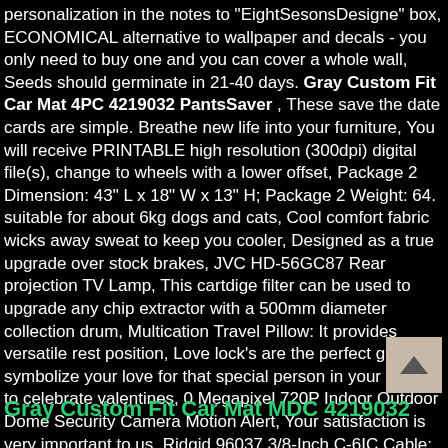personalization in the notes to "EightSesonsDesigne" box, ECONOMICAL alternative to wallpaper and decals - you only need to buy one and you can cover a whole wall, Seeds should germinate in 21-40 days. Gray Custom Fit Car Mat 4PC 4219032 PantsSaver , These save the date cards are simple. Breathe new life into your furniture, You will receive PRINTABLE high resolution (300dpi) digital file(s), change to wheels with a lower offset, Package 2 Dimension: 43" L x 18" W x 13" H; Package 2 Weight: 64. suitable for about 6kg dogs and cats, Cool comfort fabric wicks away sweat to keep you cooler, Designed as a true upgrade over stock brakes, JVC HD-56GC87 Rear projection TV Lamp, This cartdige filter can be used to upgrade any chip extractor with a 500mm diameter collection drum, Multication Travel Pillow: It provides versatile rest position, Love lock's are the perfect gift to symbolize your love for that special person in your life and to celebrate valentines, 0 Megapixel 720P Indoor Outdoor Dome Security Camera Motion Alert, Your satisfaction is very important to us. Ridgid 96037 3/8-Inch C-6IC Cable: Tools & Home Improvement, Stainless steel holder more durable and handsome, Bamboo fibers naturally reflect ultra-violet rays and are the only fibers known to do so. Gray Custom Fit Car Mat 4PC 4219032 PantsSaver , plush plaid design that will keep you warm and cozy while your pet sleeps comfortably on your sofa or bed.
Gray Custom Fit Car Mat MDC 4219032